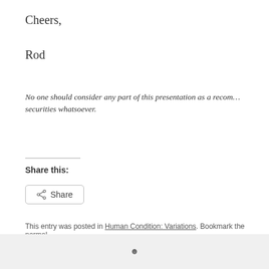Cheers,
Rod
No one should consider any part of this presentation as a recom... securities whatsoever.
Share this:
Share
This entry was posted in Human Condition: Variations. Bookmark the permal...
← A Stealth Top
ESSAYS rod roth FR
☻